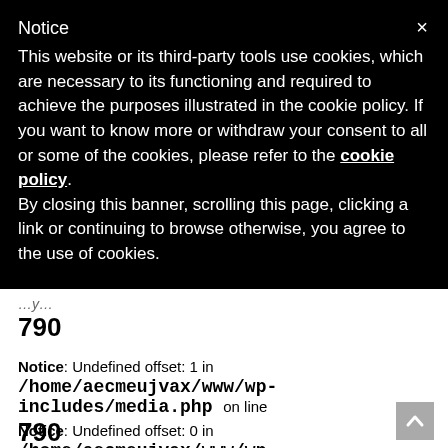Notice
This website or its third-party tools use cookies, which are necessary to its functioning and required to achieve the purposes illustrated in the cookie policy. If you want to know more or withdraw your consent to all or some of the cookies, please refer to the cookie policy.
By closing this banner, scrolling this page, clicking a link or continuing to browse otherwise, you agree to the use of cookies.
790
Notice: Undefined offset: 1 in /home/aecmeujvax/www/wp-includes/media.php on line 790
Notice: Undefined offset: 0 in /home/aecmeujvax/www/wp-includes/media.php on line